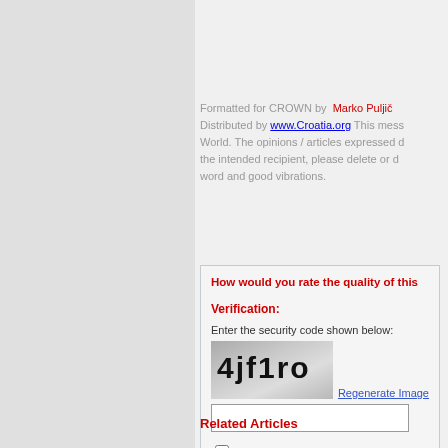Formatted for CROWN by Marko Puljic Distributed by www.Croatia.org This message ... World. The opinions / articles expressed ... the intended recipient, please delete or d... word and good vibrations.
How would you rate the quality of this
Verification:
Enter the security code shown below:
[Figure (other): CAPTCHA image showing security code '4jf1ro' on a grey gradient background]
Regenerate Image
Add comment
Submit
Related Articles